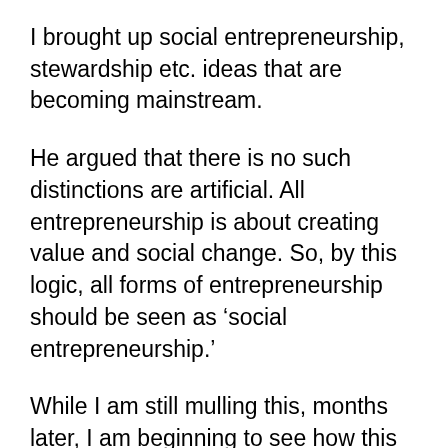I brought up social entrepreneurship, stewardship etc. ideas that are becoming mainstream.
He argued that there is no such distinctions are artificial. All entrepreneurship is about creating value and social change. So, by this logic, all forms of entrepreneurship should be seen as ‘social entrepreneurship.’
While I am still mulling this, months later, I am beginning to see how this might be wrong.
Entrepreneurs of course want to create value. And this value may not always be socially beneficial. Those who turn perishable commodities and other depleting resources – think fossil fuels etc. into